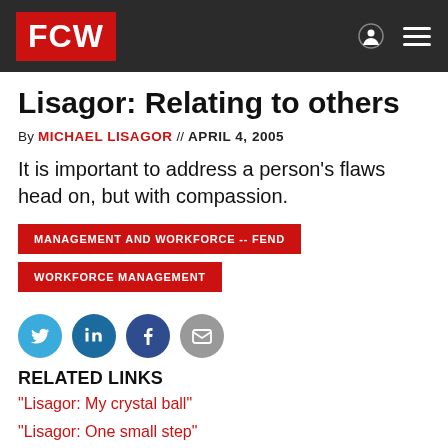FCW
Lisagor: Relating to others
By MICHAEL LISAGOR // APRIL 4, 2005
It is important to address a person’s flaws head on, but with compassion.
MANAGEMENT AND WORKFORCE -- FEND
WORKFORCE MANAGEMENT
[Figure (other): Social sharing icons: Twitter, LinkedIn, Facebook, Email]
RELATED LINKS
"Lisagor: My crystal ball"
"Lisagor: One small step"
"Lisagor: Urban legends"